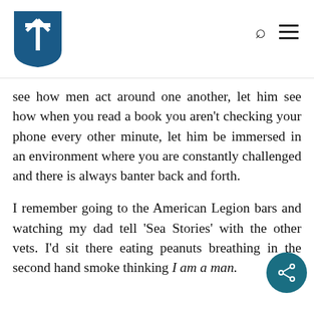[Logo: shield icon with T/cross symbol, search icon, menu icon]
see how men act around one another, let him see how when you read a book you aren't checking your phone every other minute, let him be immersed in an environment where you are constantly challenged and there is always banter back and forth.
I remember going to the American Legion bars and watching my dad tell ‘Sea Stories’ with the other vets. I’d sit there eating peanuts breathing in the second hand smoke thinking I am a man.